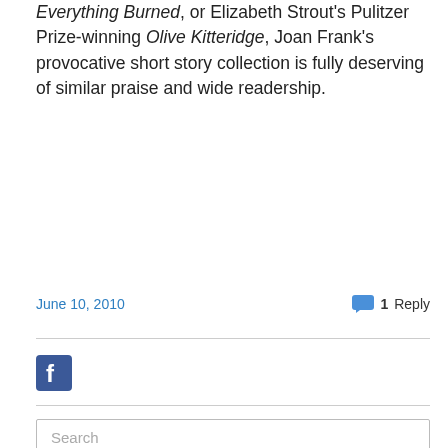Everything Burned, or Elizabeth Strout's Pulitzer Prize-winning Olive Kitteridge, Joan Frank's provocative short story collection is fully deserving of similar praise and wide readership.
June 10, 2010    1 Reply
[Figure (screenshot): Facebook social plugin icon (Facebook logo button)]
[Figure (screenshot): Search input box with placeholder text 'Search']
[Figure (photo): Partial book cover image showing a deer silhouette against a forested background in olive/brown tones]